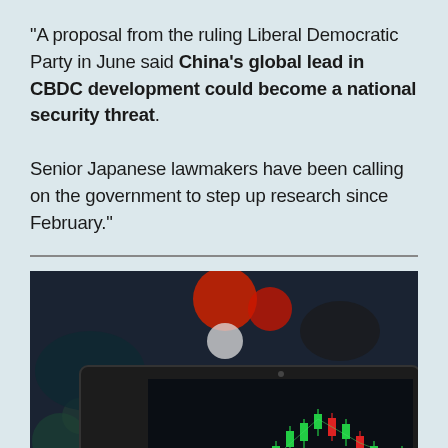“A proposal from the ruling Liberal Democratic Party in June said China’s global lead in CBDC development could become a national security threat. Senior Japanese lawmakers have been calling on the government to step up research since February.”
[Figure (photo): A laptop screen displaying a stock market candlestick chart with green and red candles, against a dark bokeh background with red and white circular light reflections.]